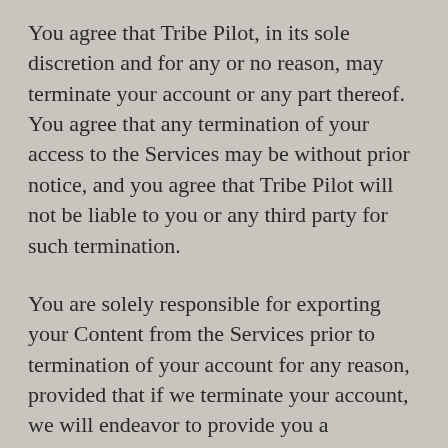You agree that Tribe Pilot, in its sole discretion and for any or no reason, may terminate your account or any part thereof.  You agree that any termination of your access to the Services may be without prior notice, and you agree that Tribe Pilot will not be liable to you or any third party for such termination.
You are solely responsible for exporting your Content from the Services prior to termination of your account for any reason, provided that if we terminate your account, we will endeavor to provide you a reasonable opportunity to retrieve your Content.
Upon any termination of the Services or your account these Terms will also terminate, but all provisions of these Terms which, by their nature, should survive